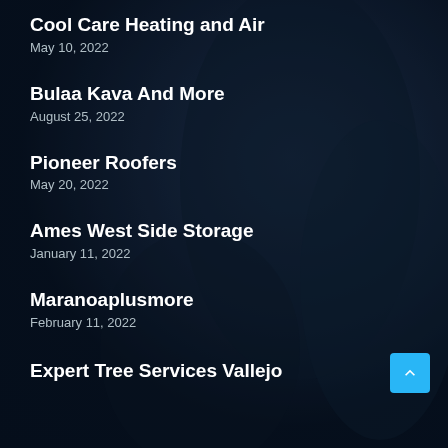Cool Care Heating and Air
May 10, 2022
Bulaa Kava And More
August 25, 2022
Pioneer Roofers
May 20, 2022
Ames West Side Storage
January 11, 2022
Maranoaplusmore
February 11, 2022
Expert Tree Services Vallejo